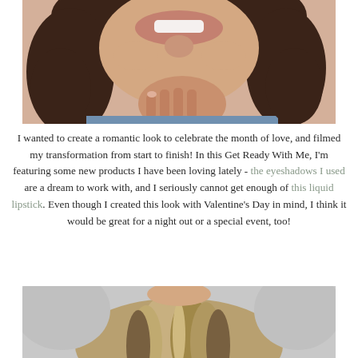[Figure (photo): Close-up photo of a smiling young woman with brown curly hair, hand resting under her chin, wearing a blue top. Upper portion of face cropped.]
I wanted to create a romantic look to celebrate the month of love, and filmed my transformation from start to finish! In this Get Ready With Me, I'm featuring some new products I have been loving lately - the eyeshadows I used are a dream to work with, and I seriously cannot get enough of this liquid lipstick. Even though I created this look with Valentine's Day in mind, I think it would be great for a night out or a special event, too!
[Figure (photo): Photo of the back of a woman's head with brown highlighted hair, shot from above against a light gray background.]